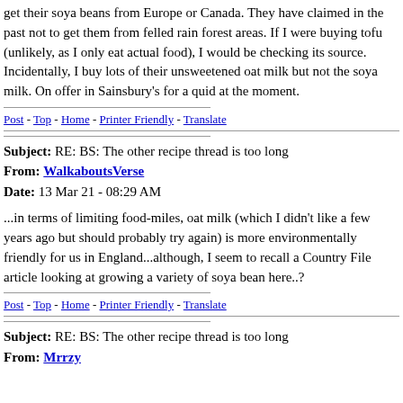get their soya beans from Europe or Canada. They have claimed in the past not to get them from felled rain forest areas. If I were buying tofu (unlikely, as I only eat actual food), I would be checking its source. Incidentally, I buy lots of their unsweetened oat milk but not the soya milk. On offer in Sainsbury's for a quid at the moment.
Post - Top - Home - Printer Friendly - Translate
Subject: RE: BS: The other recipe thread is too long
From: WalkaboutsVerse
Date: 13 Mar 21 - 08:29 AM
...in terms of limiting food-miles, oat milk (which I didn't like a few years ago but should probably try again) is more environmentally friendly for us in England...although, I seem to recall a Country File article looking at growing a variety of soya bean here..?
Post - Top - Home - Printer Friendly - Translate
Subject: RE: BS: The other recipe thread is too long
From: Mrrzy